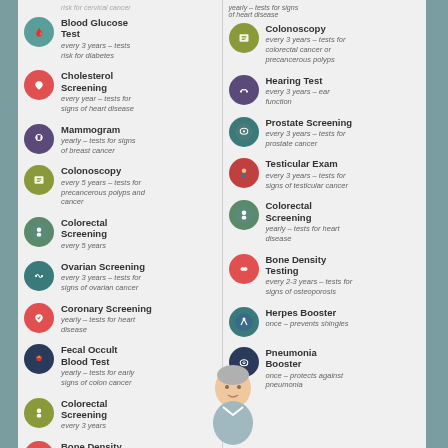Blood Glucose Test - every 3 years - tests risk for diabetes
Cholesterol Screening - every year - tests for signs of heart disease
Mammogram - yearly - tests for signs of breast cancer
Colonoscopy - every 5 years - tests for precancerous polyps and cancer
Colorectal Screening - every 5 years
Ovarian Screening - every 3 years - tests for signs of ovarian cancer
Coronary Screening - yearly - tests for heart disease
Fecal Occult Blood Test - yearly - tests for early signs of colon cancer
Colorectal Screening - every 3 years
Bone Density Testing
Colonoscopy - every 3 years - tests for colorectal cancer or precancerous polyps
Hearing Test - every 3 years - ear function
Prostate Screening - every 3 years - tests for prostate cancer
Testicular Exam - every 3 years - tests for signs of testicular cancer
Colorectal Screening - yearly - tests for heart disease
Bone Density Testing - every 2-3 years - tests for signs of osteoporosis
Herpes Booster - once - prevents shingles
Pneumonia Booster - once - protects against pneumonia